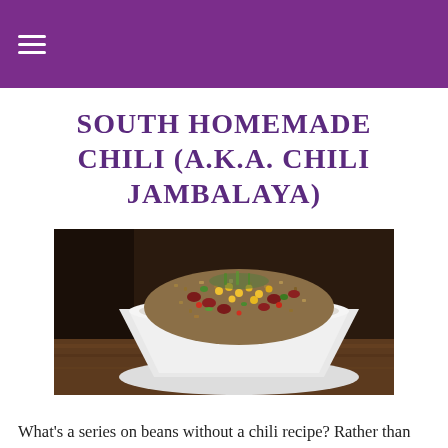≡
SOUTH HOMEMADE CHILI (A.K.A. CHILI JAMBALAYA)
[Figure (photo): A white square bowl filled with chili jambalaya — a hearty mixture of rice, kidney beans, corn, peppers, and other vegetables, photographed on a wooden surface.]
What's a series on beans without a chili recipe? Rather than sharing a more Western-style chili with black beans, tomatoes, and